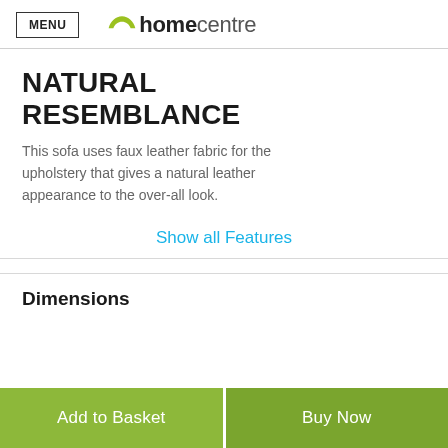MENU | homecentre
NATURAL RESEMBLANCE
This sofa uses faux leather fabric for the upholstery that gives a natural leather appearance to the over-all look.
Show all Features
Dimensions
Add to Basket
Buy Now